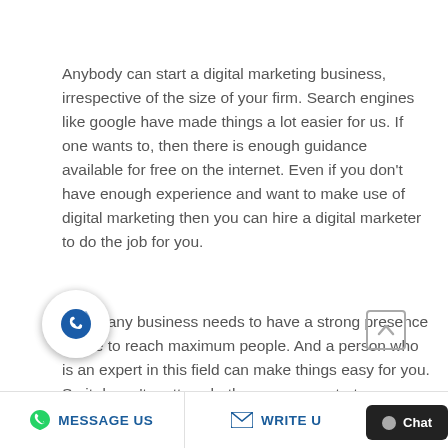Anybody can start a digital marketing business, irrespective of the size of your firm. Search engines like google have made things a lot easier for us. If one wants to, then there is enough guidance available for free on the internet. Even if you don't have enough experience and want to make use of digital marketing then you can hire a digital marketer to do the job for you.
Today any business needs to have a strong presence online to reach maximum people. And a person who is an expert in this field can make things easy for you. So it doesn't matter whether you are a startup or a grown-up business, one can use this platform to excel in his\her busin